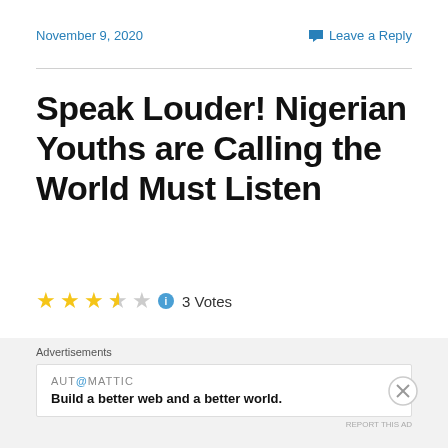November 9, 2020
Leave a Reply
Speak Louder! Nigerian Youths are Calling the World Must Listen
3 Votes
[Figure (photo): Partial photo of a person's head, cropped at top of frame, dark background]
Advertisements
AUTOMATTIC
Build a better web and a better world.